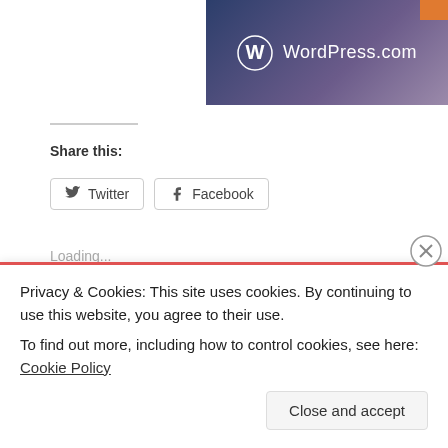[Figure (logo): WordPress.com logo banner with gradient blue-purple background, WordPress circular W icon and text 'WordPress.com']
Share this:
Twitter   Facebook
Loading...
Posted in Golden Retriever | Tagged Connecticut Goldens, golden retriever p... Eastern CT, Golden Retrievers, goldens | Leave a comment
Privacy & Cookies: This site uses cookies. By continuing to use this website, you agree to their use.
To find out more, including how to control cookies, see here: Cookie Policy
Close and accept